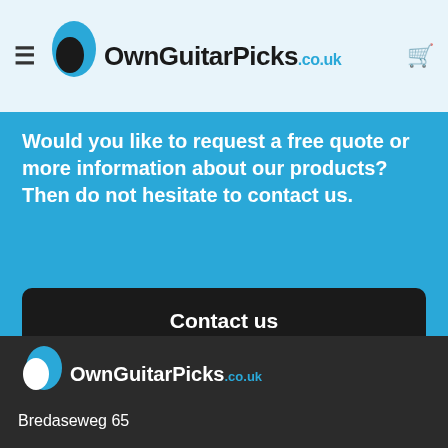OwnGuitarPicks.co.uk
Would you like to request a free quote or more information about our products? Then do not hesitate to contact us.
Contact us
Our references
[Figure (logo): OwnGuitarPicks.co.uk logo in dark footer]
Bredaseweg 65